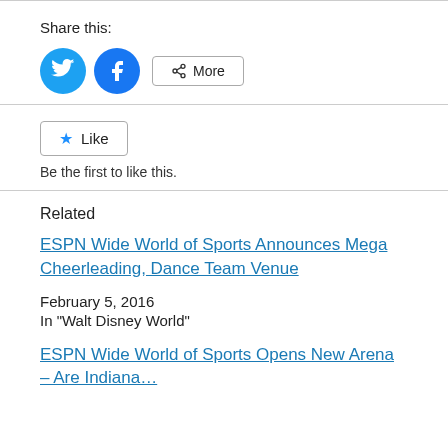Share this:
[Figure (infographic): Social share buttons: Twitter (blue circle with bird icon), Facebook (blue circle with f icon), and a More button with share icon]
[Figure (infographic): Like button with star icon]
Be the first to like this.
Related
ESPN Wide World of Sports Announces Mega Cheerleading, Dance Team Venue
February 5, 2016
In "Walt Disney World"
ESPN Wide World of Sports Opens New Arena – Are Indiana…